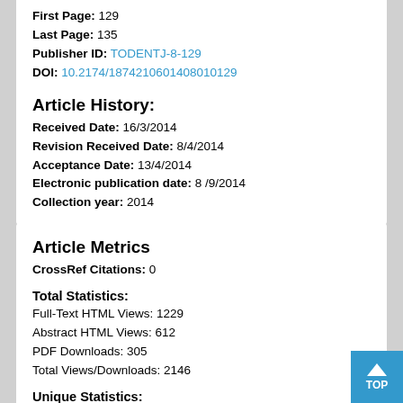First Page: 129
Last Page: 135
Publisher ID: TODENTJ-8-129
DOI: 10.2174/1874210601408010129
Article History:
Received Date: 16/3/2014
Revision Received Date: 8/4/2014
Acceptance Date: 13/4/2014
Electronic publication date: 8 /9/2014
Collection year: 2014
Article Metrics
CrossRef Citations: 0
Total Statistics:
Full-Text HTML Views: 1229
Abstract HTML Views: 612
PDF Downloads: 305
Total Views/Downloads: 2146
Unique Statistics:
Full-Text HTML Views: 569
Abstract HTML Views: 282